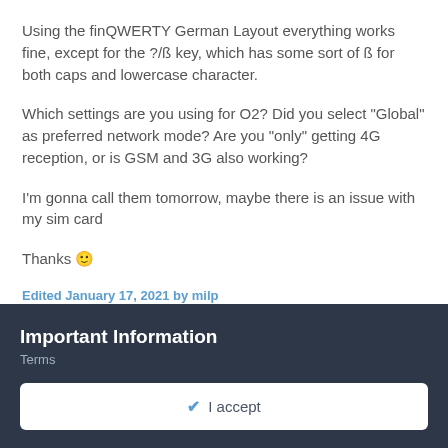Using the finQWERTY German Layout everything works fine, except for the ?/ß key, which has some sort of ß for both caps and lowercase character.
Which settings are you using for O2? Did you select "Global" as preferred network mode? Are you "only" getting 4G reception, or is GSM and 3G also working?
I'm gonna call them tomorrow, maybe there is an issue with my sim card
Thanks 🙂
Edited January 17, 2021 by milp
Important Information
Terms
✔  I accept